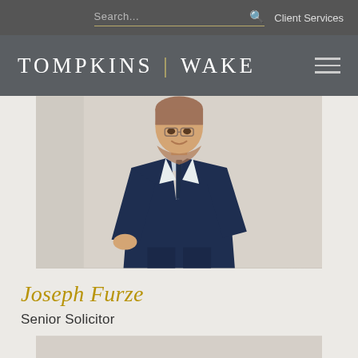Search... | Client Services
TOMPKINS | WAKE
[Figure (photo): Professional headshot of Joseph Furze, a young man with reddish-brown beard wearing a navy blue suit with striped tie, standing against a light background]
Joseph Furze
Senior Solicitor
[Figure (photo): Partial view of a second person's photo at the bottom of the page, showing the top of a head with dark hair]